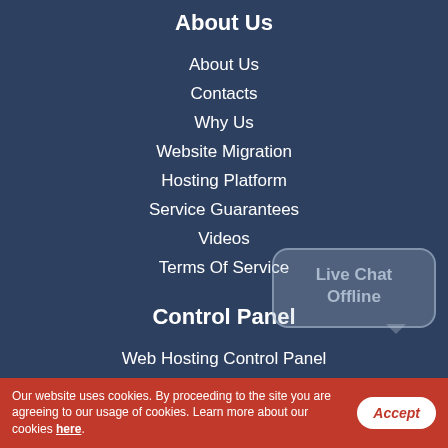About Us
About Us
Contacts
Why Us
Website Migration
Hosting Platform
Service Guarantees
Videos
Terms Of Service
Control Panel
Web Hosting Control Panel
Hepsia vs cPanel
Web Accelerators
Free Themes
Domain Name Manager
[Figure (other): Live Chat Offline speech bubble widget]
Our website uses cookies. By proceeding to the site you are agreeing to our usage of cookies. Learn more about our cookies here.